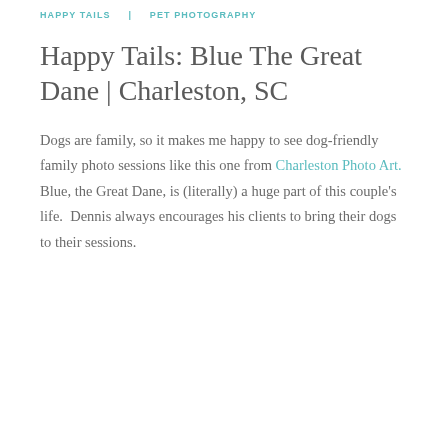HAPPY TAILS   PET PHOTOGRAPHY
Happy Tails: Blue The Great Dane | Charleston, SC
Dogs are family, so it makes me happy to see dog-friendly family photo sessions like this one from Charleston Photo Art.  Blue, the Great Dane, is (literally) a huge part of this couple's life.  Dennis always encourages his clients to bring their dogs to their sessions.